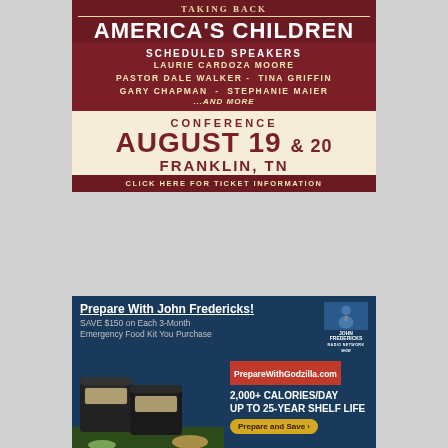[Figure (infographic): Conference advertisement: 'Taking Back America's Children' conference, scheduled speakers include Laurie Cardoza Moore, Pastor Dale Walker, Tina Griffin, Gary Chapman, Stephanie Maier, and more. Conference August 19 & 20, Franklin, TN. Click here for ticket information.]
[Figure (infographic): Advertisement for 'Prepare With John Fredericks!' - Save $150 on Each 3-Month Emergency Food Kit You Purchase. PrepareWithGodzilla.com. 2,000+ Calories/Day, Up to 25-Year Shelf Life. Prepare and Save button. Features image of John Fredericks and emergency food bucket containers.]